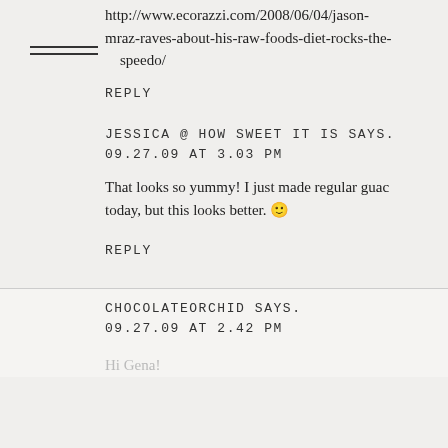http://www.ecorazzi.com/2008/06/04/jason-mraz-raves-about-his-raw-foods-diet-rocks-the-speedo/
REPLY
JESSICA @ HOW SWEET IT IS SAYS.
09.27.09 AT 3.03 PM
That looks so yummy! I just made regular guac today, but this looks better. 🙂
REPLY
CHOCOLATEORCHID SAYS.
09.27.09 AT 2.42 PM
Hi Gena!